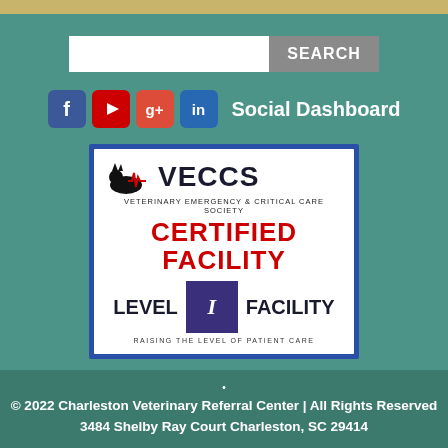[Figure (screenshot): Search bar with input field and SEARCH button on teal background]
[Figure (infographic): Social media icons for Facebook, YouTube, Google+, LinkedIn followed by 'Social Dashboard' text]
[Figure (logo): VECCS - Veterinary Emergency & Critical Care Society Certified Facility Level I badge]
© 2022 Charleston Veterinary Referral Center | All Rights Reserved
3484 Shelby Ray Court Charleston, SC 29414